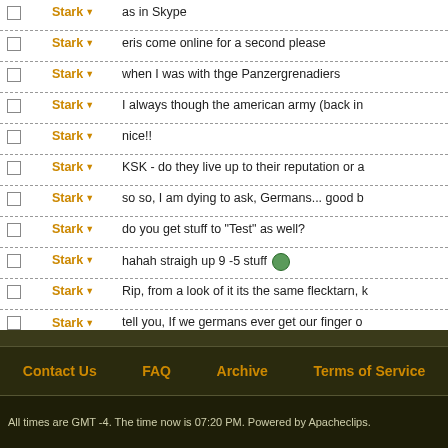|  | Author | Message |
| --- | --- | --- |
|  | Stark | as in Skype |
|  | Stark | eris come online for a second please |
|  | Stark | when I was with thge Panzergrenadiers |
|  | Stark | I always though the american army (back in |
|  | Stark | nice!! |
|  | Stark | KSK - do they live up to their reputation or a |
|  | Stark | so so, I am dying to ask, Germans... good b |
|  | Stark | do you get stuff to "Test" as well? |
|  | Stark | hahah straigh up 9 -5 stuff 😀 |
|  | Stark | Rip, from a look of it its the same flecktarn, k |
|  | Stark | tell you, If we germans ever get our finger o
ass picture |
|  | Stark | Ripcords day of work - Killed a dictator, surv
days work |
|  | Stark | My working day- Two 1 two 1's three meetin |
Contact Us   FAQ   Archive   Terms of Service
All times are GMT -4. The time now is 07:20 PM. Powered by Apacheclips.